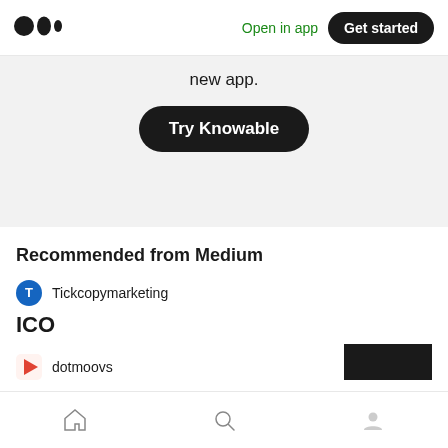Medium logo | Open in app | Get started
new app.
Try Knowable
Recommended from Medium
Tickcopymarketing
ICO
dotmoovs
Home | Search | Profile